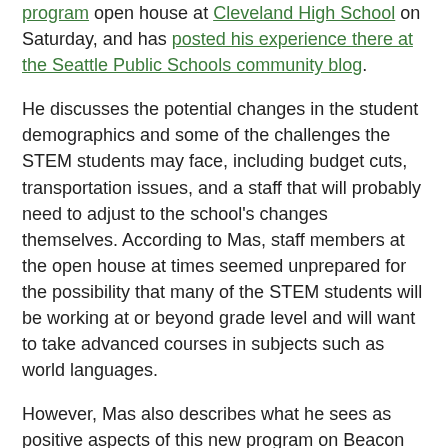program open house at Cleveland High School on Saturday, and has posted his experience there at the Seattle Public Schools community blog.
He discusses the potential changes in the student demographics and some of the challenges the STEM students may face, including budget cuts, transportation issues, and a staff that will probably need to adjust to the school's changes themselves. According to Mas, staff members at the open house at times seemed unprepared for the possibility that many of the STEM students will be working at or beyond grade level and will want to take advanced courses in subjects such as world languages.
However, Mas also describes what he sees as positive aspects of this new program on Beacon Hill:
“My daughter is looking for a small school, and I am convinced that STEM will be small. She is looking for a project-based learning and the overall fit is looking